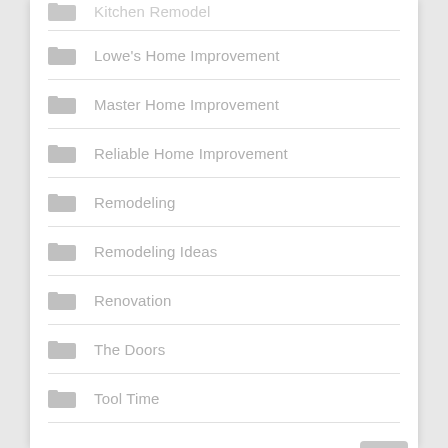Lowe's Home Improvement
Master Home Improvement
Reliable Home Improvement
Remodeling
Remodeling Ideas
Renovation
The Doors
Tool Time
ABOUT US
Home